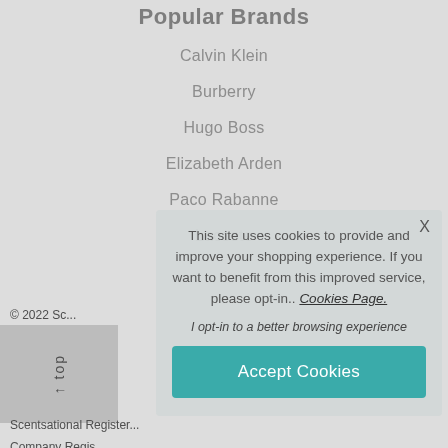Popular Brands
Calvin Klein
Burberry
Hugo Boss
Elizabeth Arden
Paco Rabanne
Lacoste
© 2022 Sc...
Scentsational Register...
Company Regis...
This site uses cookies to provide and improve your shopping experience. If you want to benefit from this improved service, please opt-in.. Cookies Page.

I opt-in to a better browsing experience

Accept Cookies